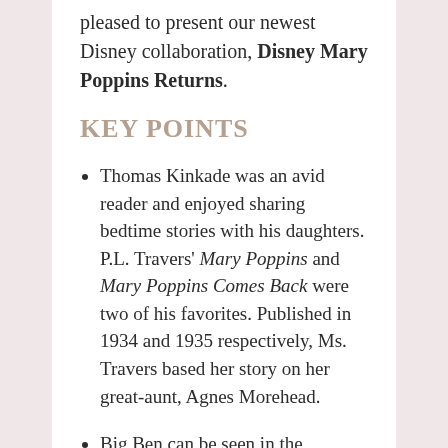pleased to present our newest Disney collaboration, Disney Mary Poppins Returns.
KEY POINTS
Thomas Kinkade was an avid reader and enjoyed sharing bedtime stories with his daughters. P.L. Travers' Mary Poppins and Mary Poppins Comes Back were two of his favorites. Published in 1934 and 1935 respectively, Ms. Travers based her story on her great-aunt, Agnes Morehead.
Big Ben can be seen in the background against the stunning sunset, while the streetlamps along Cherry Tree